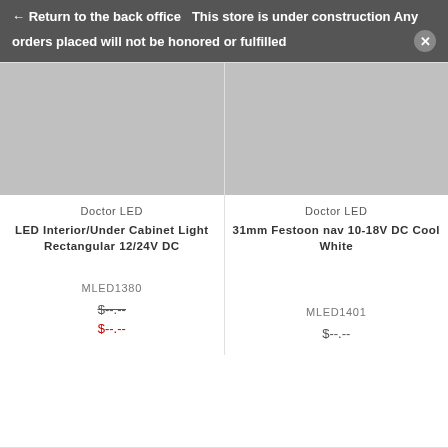← Return to the back office   This store is under construction Any orders placed will not be honored or fulfilled
[Figure (photo): Product image placeholder for LED Interior/Under Cabinet Light Rectangular 12/24V DC (grey rectangle)]
Doctor LED
LED Interior/Under Cabinet Light Rectangular 12/24V DC
MLED1380
$--.--
$--.--
[Figure (photo): Product image placeholder for 31mm Festoon nav 10-18V DC Cool White (grey rectangle)]
Doctor LED
31mm Festoon nav 10-18V DC Cool White
MLED1401
$--.--